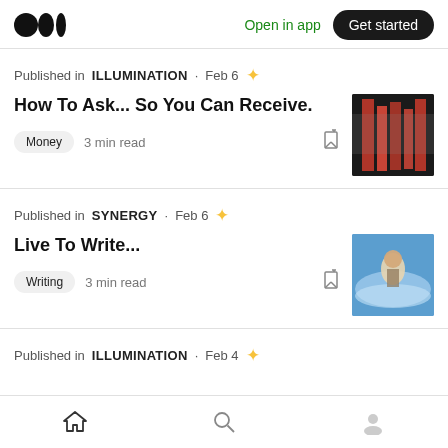Medium logo | Open in app | Get started
Published in ILLUMINATION · Feb 6 ★
How To Ask... So You Can Receive.
Money  3 min read
[Figure (photo): Thumbnail image of red abstract art]
Published in SYNERGY · Feb 6 ★
Live To Write...
Writing  3 min read
[Figure (photo): Thumbnail image of a person in water/waves]
Published in ILLUMINATION · Feb 4 ★
Home | Search | Profile